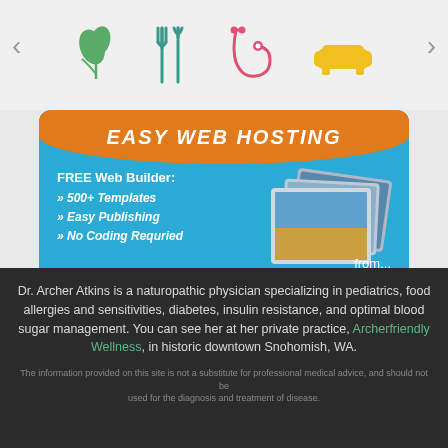[Figure (infographic): Top navigation bar with category icons: plant/herb icon (green), fork and knife icon (teal), stethoscope icon (pink/red), couch/sofa icon (yellow), with left and right arrow navigation buttons]
[Figure (infographic): Easy Web Hosting advertisement banner with orange arc header reading EASY WEB HOSTING, blue background, text listing FREE Web Builder with 500+ Templates, Easy Publishing, No Coding Requried, a Start Today! orange button, photo stack graphic, and price from $4.99/mo]
Dr. Archer Atkins is a naturopathic physician specializing in pediatrics, food allergies and sensitivities, diabetes, insulin resistance, and optimal blood sugar management. You can see her at her private practice, Archerfriendly Wellness, in historic downtown Snohomish, WA.
The information provided on this site is not a substitute for professional medical advice, and should not be used for the diagnosis and treatment of disease.